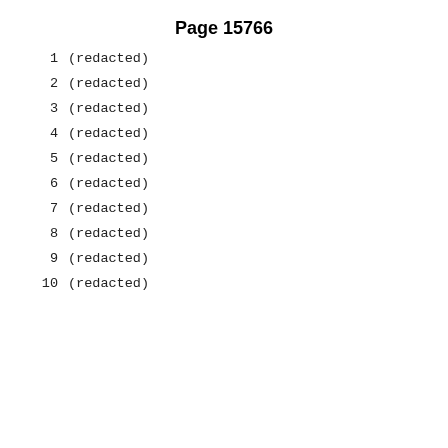Page 15766
1    (redacted)
2    (redacted)
3    (redacted)
4    (redacted)
5    (redacted)
6    (redacted)
7    (redacted)
8    (redacted)
9    (redacted)
10    (redacted)